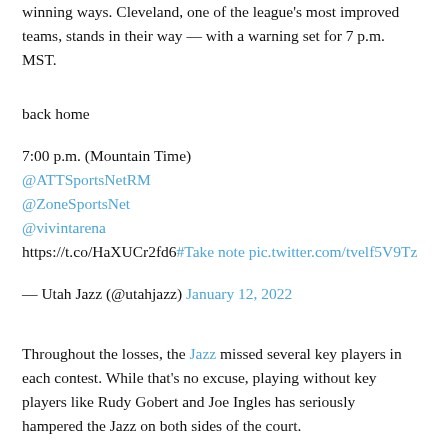winning ways. Cleveland, one of the league's most improved teams, stands in their way — with a warning set for 7 p.m. MST.
back home
7:00 p.m. (Mountain Time)
@ATTSportsNetRM
@ZoneSportsNet
@vivintarena
https://t.co/HaXUCr2fd6 #Take note pic.twitter.com/tvelf5V9Tz
— Utah Jazz (@utahjazz) January 12, 2022
Throughout the losses, the Jazz missed several key players in each contest. While that's no excuse, playing without key players like Rudy Gobert and Joe Ingles has seriously hampered the Jazz on both sides of the court.
"Well, there's a guy named Rudy Gobert who wasn't there," head